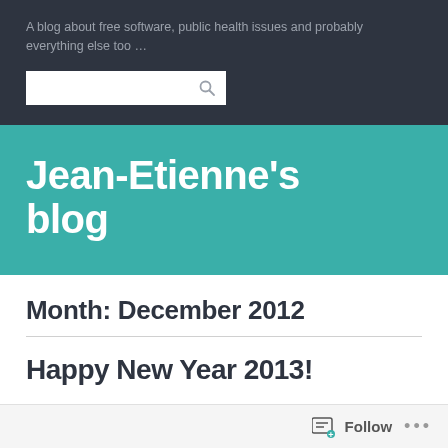A blog about free software, public health issues and probably everything else too …
[Figure (screenshot): Search input box with magnifying glass icon]
Jean-Etienne's blog
Month: December 2012
Happy New Year 2013!
[Figure (screenshot): Follow button bar at the bottom with follow icon and ellipsis menu]